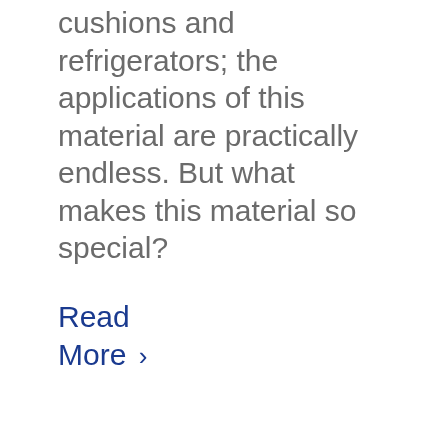cushions and refrigerators; the applications of this material are practically endless. But what makes this material so special?
Read More ›